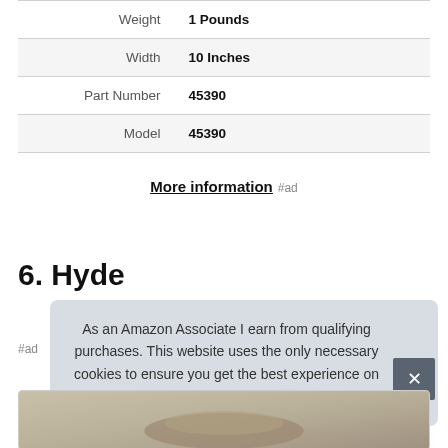| Property | Value |
| --- | --- |
| Weight | 1 Pounds |
| Width | 10 Inches |
| Part Number | 45390 |
| Model | 45390 |
More information #ad
6. Hyde
#ad
As an Amazon Associate I earn from qualifying purchases. This website uses the only necessary cookies to ensure you get the best experience on our website. More information